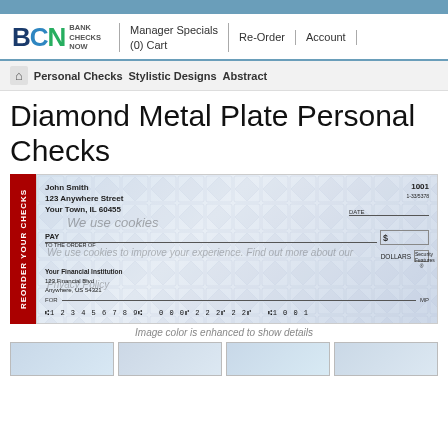[Figure (logo): BCN Bank Checks Now logo with blue and green lettering]
Manager Specials | Re-Order | Account | (0) Cart
Personal Checks  Stylistic Designs  Abstract
Diamond Metal Plate Personal Checks
[Figure (photo): Sample personal check with diamond metal plate background design. John Smith, 123 Anywhere Street, Your Town, IL 60455. Check number 1001. DATE field, PAY TO THE ORDER OF line, DOLLARS, bank info: Your Financial Institution, 123 Financial Blvd, Anywhere, US 54321. FOR line. MICR line: 123456789 000 222 22 1001. MP designation. Cookie consent overlay visible.]
Image color is enhanced to show details